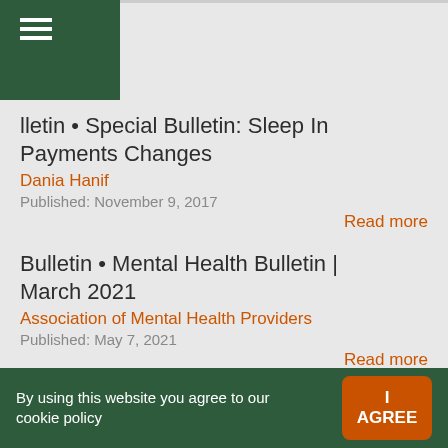Bulletin • Special Bulletin: Sleep In Payments Changes
Dania Hanif
Published: November 9, 2017
Read more
Bulletin • Mental Health Bulletin | March 2021
Association of Mental Health Providers
Published: May 7, 2021
Read more
By using this website you agree to our cookie policy  I AGREE